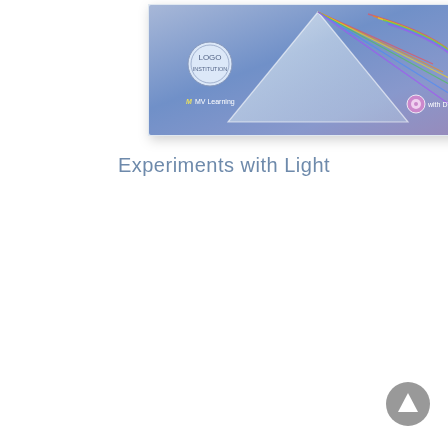[Figure (photo): Book cover for 'Experiments with Light' by MV Learning, showing a glass prism dispersing light into rainbow colors on a blue gradient background. Includes a circular institution logo and a DVD badge.]
Experiments with Light